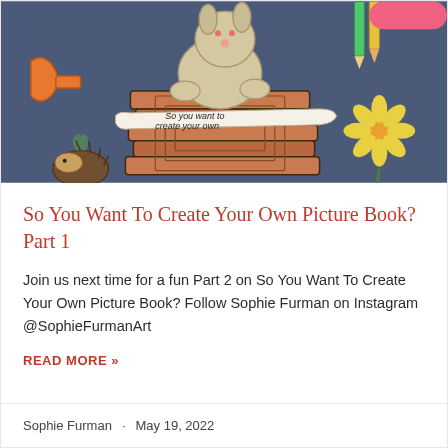[Figure (illustration): Illustrated book cover artwork showing a fluffy rabbit/dog sitting on a stack of brown books with the text 'So you want to create your own' on a banner. There is a small hedgehog in the lower left, a yellow sunflower on the right, colorful pencils/markers on the right side, a small heart shape, and a pink rounded rectangle in the upper right corner. The background is dark blue.]
So You Want To Create Your Own Picture Book? Part 1
Join us next time for a fun Part 2 on So You Want To Create Your Own Picture Book? Follow Sophie Furman on Instagram @SophieFurmanArt
READ MORE »
Sophie Furman · May 19, 2022